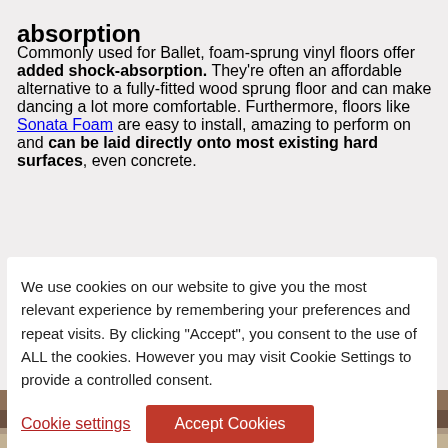absorption
Commonly used for Ballet, foam-sprung vinyl floors offer added shock-absorption. They're often an affordable alternative to a fully-fitted wood sprung floor and can make dancing a lot more comfortable. Furthermore, floors like Sonata Foam are easy to install, amazing to perform on and can be laid directly onto most existing hard surfaces, even concrete.
We use cookies on our website to give you the most relevant experience by remembering your preferences and repeat visits. By clicking "Accept", you consent to the use of ALL the cookies. However you may visit Cookie Settings to provide a controlled consent.
Cookie settings | Accept Cookies
[Figure (photo): Bottom portion of a dance studio or interior space, showing dark structural beams and a light-colored floor, partially visible.]